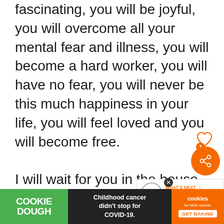fascinating, you will be joyful, you will overcome all your mental fear and illness, you will become a hard worker, you will have no fear, you will never be this much happiness in your life, you will feel loved and you will become free.

I will wait for you in the house of God. Keep going on this path, it will definitely change your life and put your life on the right track. Be assured that you have me and I will never leave you having problem. Spread love and have hope. Thank you so much. If you have any
[Figure (screenshot): UI overlay elements: heart icon, share button (orange circle with share icon), badge showing '1', and 'WHAT'S NEXT' card showing 'Job Confirmatio...']
[Figure (screenshot): Advertisement banner at bottom: Cookie Dough (green), 'Childhood cancer didn't stop for COVID-19.' (black), cookies for kids cancer / GET BAKING (orange)]